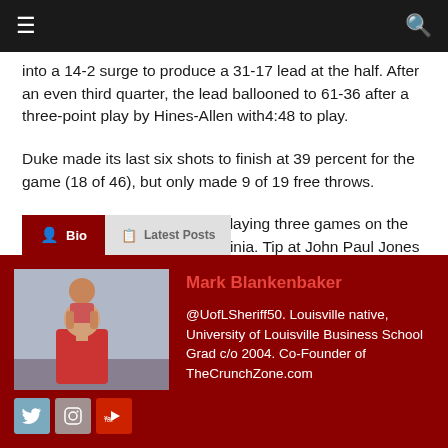Navigation bar with menu and search icons
into a 14-2 surge to produce a 31-17 lead at the half. After an even third quarter, the lead ballooned to 61-36 after a three-point play by Hines-Allen with4:48 to play.
Duke made its last six shots to finish at 39 percent for the game (18 of 46), but only made 9 of 19 free throws.
Louisville begins a stretch of playing three games on the road, starting Thursday at Virginia. Tip at John Paul Jones Arena in Charlottesville, Va., is set for 7 p.m.
[Figure (infographic): Author bio card with photo of Mark Blankenbaker, Bio and Latest Posts tabs, social media icons (Twitter, Instagram, YouTube), name in red, and bio text]